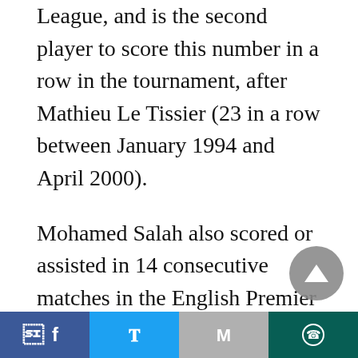League, and is the second player to score this number in a row in the tournament, after Mathieu Le Tissier (23 in a row between January 1994 and April 2000).
Mohamed Salah also scored or assisted in 14 consecutive matches in the English Premier League, just one time short of the record set by Jamie Vardy (15 matches) between August and December 2015.
Mohamed Salah participated in 22 matches in all competitions this season with Liverpool, including 16 matches in the English Premier League and 6
[Figure (other): Scroll-to-top button: dark grey circular button with upward-pointing triangle arrow]
Social share bar with Facebook, Twitter, Gmail, and WhatsApp buttons